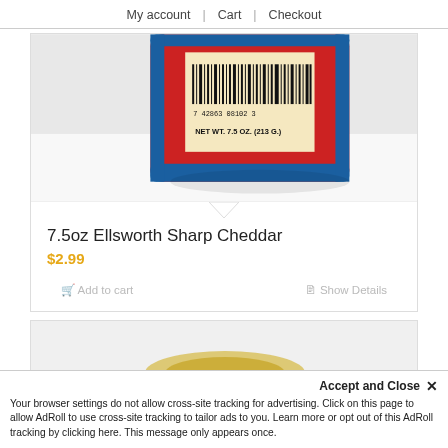My account | Cart | Checkout
[Figure (photo): Red packaged Ellsworth Sharp Cheddar cheese block showing barcode 742863 08102 and label NET WT. 7.5 OZ. (213 G.)]
7.5oz Ellsworth Sharp Cheddar
$2.99
Add to cart
Show Details
[Figure (photo): Partial view of a yellow cheese slice on light background]
Accept and Close ✕
Your browser settings do not allow cross-site tracking for advertising. Click on this page to allow AdRoll to use cross-site tracking to tailor ads to you. Learn more or opt out of this AdRoll tracking by clicking here. This message only appears once.